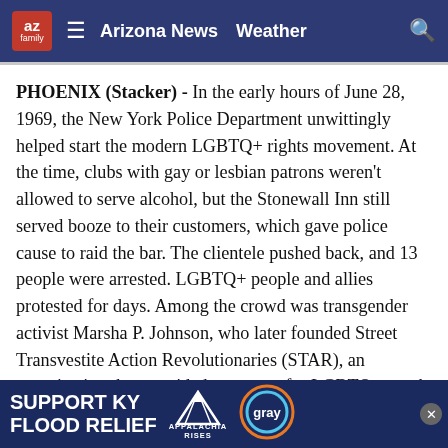az family | Arizona News | Weather
PHOENIX (Stacker) - In the early hours of June 28, 1969, the New York Police Department unwittingly helped start the modern LGBTQ+ rights movement. At the time, clubs with gay or lesbian patrons weren't allowed to serve alcohol, but the Stonewall Inn still served booze to their customers, which gave police cause to raid the bar. The clientele pushed back, and 13 people were arrested. LGBTQ+ people and allies protested for days. Among the crowd was transgender activist Marsha P. Johnson, who later founded Street Transvestite Action Revolutionaries (STAR), an organization that provided resources for LGBTQ+ youth and sex workers.
After the events at Stonewall—which the NYPD eventu... people pushed... first
[Figure (other): Advertisement banner: SUPPORT KY FLOOD RELIEF with Appalachia Rises mountain logo and Gray television network logo]